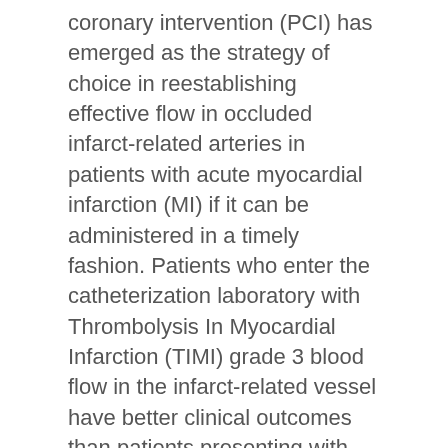coronary intervention (PCI) has emerged as the strategy of choice in reestablishing effective flow in occluded infarct-related arteries in patients with acute myocardial infarction (MI) if it can be administered in a timely fashion. Patients who enter the catheterization laboratory with Thrombolysis In Myocardial Infarction (TIMI) grade 3 blood flow in the infarct-related vessel have better clinical outcomes than patients presenting with impaired flow. We hypothesize that a strategy of early pharmacologic reperfusion therapy with abciximab alone or in conjunction with reduced-dose reteplase, followed by PCI will improve the outcome of patients eligible for primary PCI. STUDY DESIGN: The Facilitated